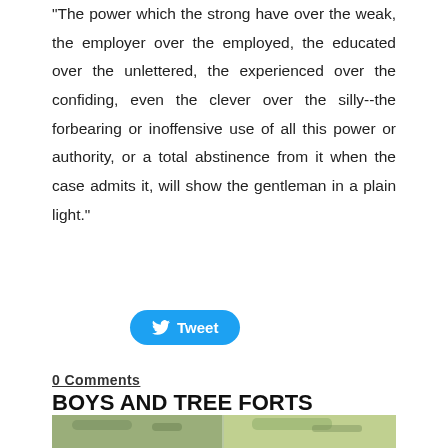“The power which the strong have over the weak, the employer over the employed, the educated over the unlettered, the experienced over the confiding, even the clever over the silly--the forbearing or inoffensive use of all this power or authority, or a total abstinence from it when the case admits it, will show the gentleman in a plain light.”
[Figure (other): Twitter Tweet button, blue rounded rectangle with bird icon and 'Tweet' text]
0 Comments
BOYS AND TREE FORTS
8/28/2020
[Figure (photo): Partial photo of tree branches with green foliage, cropped at bottom of page]